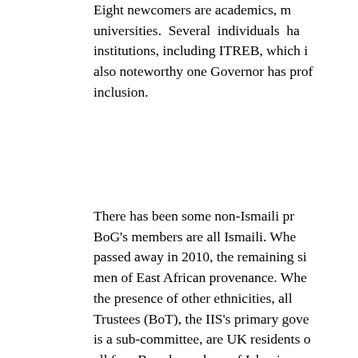Eight newcomers are academics, many from universities. Several individuals have worked at institutions, including ITREB, which is also noteworthy one Governor has professed inclusion.
There has been some non-Ismaili presence. BoG's members are all Ismaili. When passed away in 2010, the remaining six men of East African provenance. When the presence of other ethnicities, all Trustees (BoT), the IIS's primary governing body is a sub-committee, are UK residents and all four Board members of Islamic academics are absent from the BoT and from the Trustees. The primary...